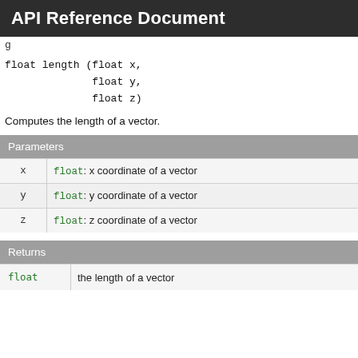API Reference Document
g
Computes the length of a vector.
| Parameters |
| --- |
| x | float: x coordinate of a vector |
| y | float: y coordinate of a vector |
| z | float: z coordinate of a vector |
| Returns |
| --- |
| float | the length of a vector |